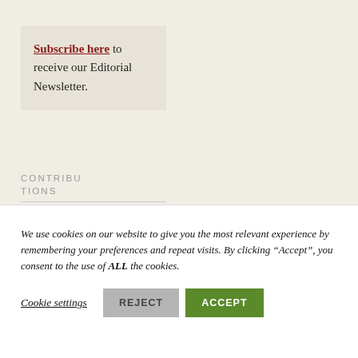Subscribe here to receive our Editorial Newsletter.
CONTRIBUTIONS
We need your
We use cookies on our website to give you the most relevant experience by remembering your preferences and repeat visits. By clicking “Accept”, you consent to the use of ALL the cookies.
Cookie settings   REJECT   ACCEPT